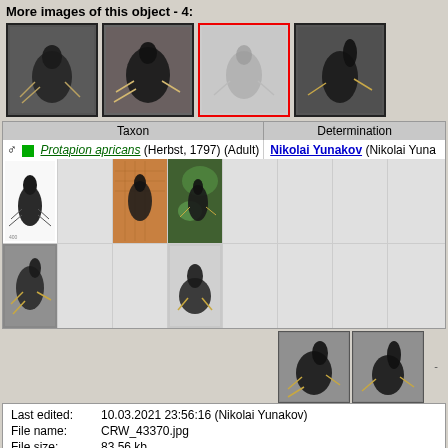More images of this object - 4:
[Figure (photo): Four thumbnail images of Protapion apricans insect, third one selected with red border]
| Taxon | Determination |
| --- | --- |
| ♂ ■ Protapion apricans (Herbst, 1797) (Adult) | Nikolai Yunakov (Nikolai Yuna... |
[Figure (photo): Grid of insect thumbnail images - two rows of 8 cells each, some containing photos of Protapion apricans]
[Figure (photo): Two thumbnail images at bottom right showing the selected insect from different angles]
| Last edited: | 10.03.2021 23:56:16 (Nikolai Yunakov) |
| File name: | CRW_43370.jpg |
| File size: | 83.56 kb |
| Resolution: | 800 x 600 px |
| MD5: | c223646ba41c7f74073063814f3c7441 |
Comments: 0    Views: 408
<... You are not logged in. Log in or regist
Online: Kharkovbut and 91 unregistered users
BugGallery v.1.4 © UkrBIN. PHP v. 7.2.24-0ubuntu0.18.04.13, MySQL v. 5.7.39-0ubuntu0.18.04.2-log (mysqli).